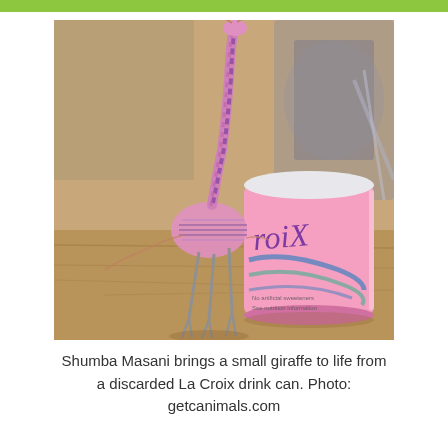[Figure (photo): A small giraffe sculpture made from a pink La Croix drink can, with wire legs and a twisted can neck, sitting next to the open La Croix can on a wooden surface in a workshop.]
Shumba Masani brings a small giraffe to life from a discarded La Croix drink can. Photo: getcanimals.com